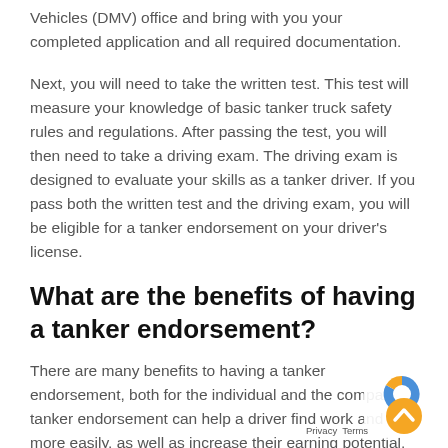Vehicles (DMV) office and bring with you your completed application and all required documentation.
Next, you will need to take the written test. This test will measure your knowledge of basic tanker truck safety rules and regulations. After passing the test, you will then need to take a driving exam. The driving exam is designed to evaluate your skills as a tanker driver. If you pass both the written test and the driving exam, you will be eligible for a tanker endorsement on your driver's license.
What are the benefits of having a tanker endorsement?
There are many benefits to having a tanker endorsement, both for the individual and the company. A tanker endorsement can help a driver find work and more easily, as well as increase their earning potential. A tanker endorsement also helps protect